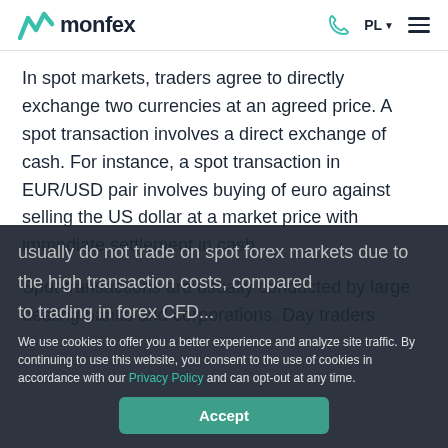monfex | PL | navigation
In spot markets, traders agree to directly exchange two currencies at an agreed price. A spot transaction involves a direct exchange of cash. For instance, a spot transaction in EUR/USD pair involves buying of euro against selling the US dollar at a market price with immediate settlement in cash.
Spot transactions are usually conducted by large dealing banks and corporations. Day traders usually do not trade on spot forex markets due to the high transaction costs, compared to trading in forex CFD...
We use cookies to offer you a better experience and analyze site traffic. By continuing to use this website, you consent to the use of cookies in accordance with our Privacy Policy and can opt-out at any time.